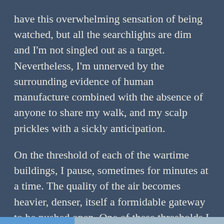have this overwhelming sensation of being watched, but all the searchlights are dim and I'm not singled out as a target. Nevertheless, I'm unnerved by the surrounding evidence of human manufacture combined with the absence of anyone to share my walk, and my scalp prickles with a sickly anticipation.
On the threshold of each of the wartime buildings, I pause, sometimes for minutes at a time. The quality of the air becomes heavier, denser, itself a formidable gateway to be pushed open. One of these thresholds I can't even bring myself to cross: the claustrophobic enclosure beneath the northern gun emplacement.